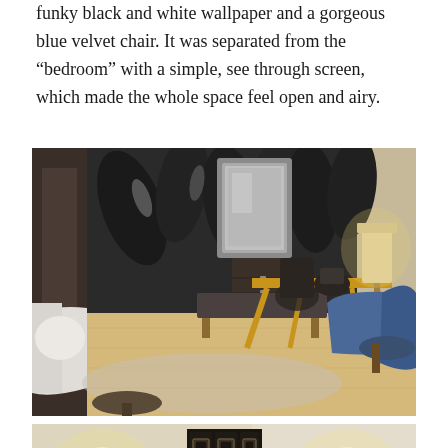funky black and white wallpaper and a gorgeous blue velvet chair. It was separated from the “bedroom” with a simple, see through screen, which made the whole space feel open and airy.
[Figure (photo): Hotel room living area with black and white tropical wallpaper, a wood bench, a wooden trestle desk, a blue velvet wingback chair on the right, a white sofa on the left, a lamp on the desk, and light wood flooring.]
[Figure (photo): Hotel room showing a decorative black folding screen/room divider separating spaces, with warm wall lighting on both sides and beige walls.]